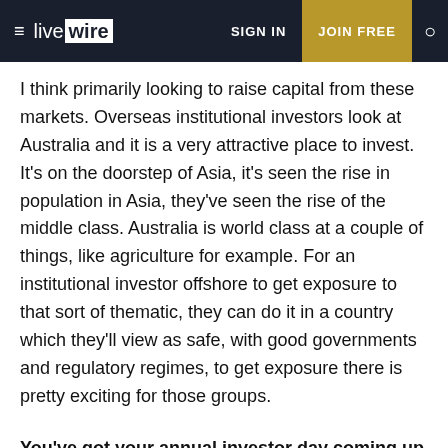≡ livewire   SIGN IN   JOIN FREE   🔍
I think primarily looking to raise capital from these markets. Overseas institutional investors look at Australia and it is a very attractive place to invest. It's on the doorstep of Asia, it's seen the rise in population in Asia, they've seen the rise of the middle class. Australia is world class at a couple of things, like agriculture for example. For an institutional investor offshore to get exposure to that sort of thematic, they can do it in a country which they'll view as safe, with good governments and regulatory regimes, to get exposure there is pretty exciting for those groups.
You've got your annual investor day coming up in Brisbane in November, what message will you be